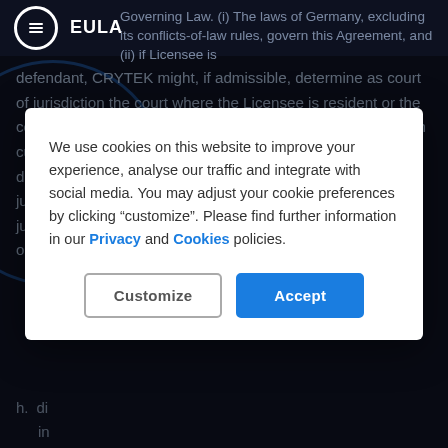EULA
Governing Law. (i) The laws of Germany, excluding its conflicts-of-law rules, govern this Agreement, and (ii) if Licensee is defendant, CRYTEK might, if admissible, determine as court of jurisdiction the court where the Licensee is resident or the court competent for the corporate domicile of CRYTEK which currently is in Frankfurt a.M. (Germany). If CRYTEK is the defendant the parties expressively agree on the exclusive jurisdiction of the courts of Frankfurt a.M. This Agreement on jurisdiction applies to all claims, be they based on contract, on tort or on any other le[gal basis].
We use cookies on this website to improve your experience, analyse our traffic and integrate with social media. You may adjust your cookie preferences by clicking “customize”. Please find further information in our Privacy and Cookies policies.
Customize  Accept